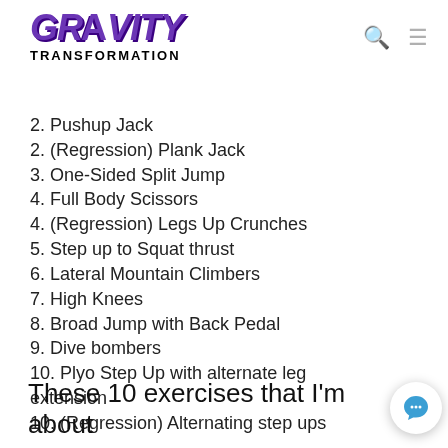GRAVITY TRANSFORMATION
2. Pushup Jack
2. (Regression) Plank Jack
3. One-Sided Split Jump
4. Full Body Scissors
4. (Regression) Legs Up Crunches
5. Step up to Squat thrust
6. Lateral Mountain Climbers
7. High Knees
8. Broad Jump with Back Pedal
9. Dive bombers
10. Plyo Step Up with alternate leg extension
10. (Regression) Alternating step ups
These 10 exercises that I'm about